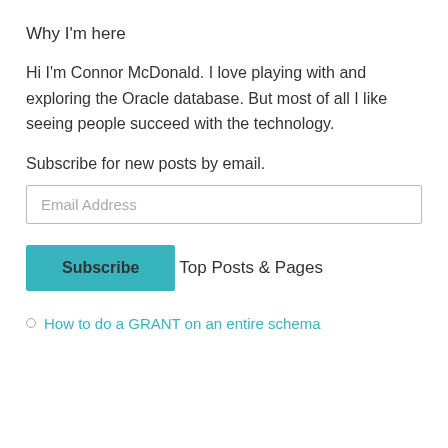Why I'm here
Hi I'm Connor McDonald. I love playing with and exploring the Oracle database. But most of all I like seeing people succeed with the technology.
Subscribe for new posts by email.
Email Address
Subscribe
Top Posts & Pages
How to do a GRANT on an entire schema